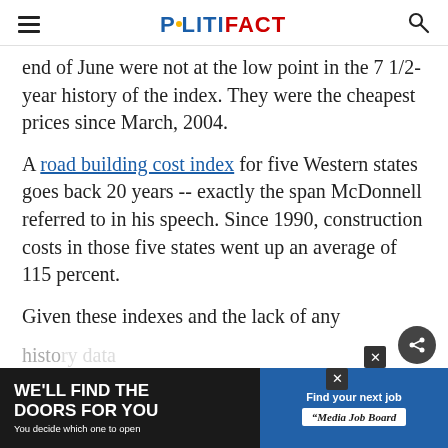POLITIFACT
end of June were not at the low point in the 7 1/2-year history of the index. They were the cheapest prices since March, 2004.
A road building cost index for five Western states goes back 20 years -- exactly the span McDonnell referred to in his speech. Since 1990, construction costs in those five states went up an average of 115 percent.
Given these these indexes and the lack of any histo... McDo... are
[Figure (other): Advertisement banner at bottom of page: left side dark background with text 'WE'LL FIND THE DOORS FOR YOU / You decide which one to open', right side blue background with 'Find your next job / Media Job Board']